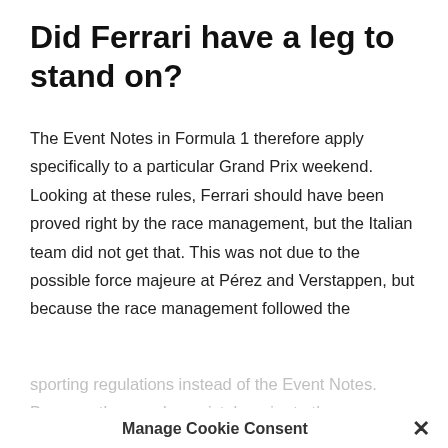Did Ferrari have a leg to stand on?
The Event Notes in Formula 1 therefore apply specifically to a particular Grand Prix weekend. Looking at these rules, Ferrari should have been proved right by the race management, but the Italian team did not get that. This was not due to the possible force majeure at Pérez and Verstappen, but because the race management followed the sporting regulations instead of the Event Notes. Because they made a mistake prior to the race weekend.
Manage Cookie Consent ✕
We use cookies to optimize our website and our services.
Eduardo Freitas, race director on duty in Monte Carlo, made the opposite The Race known that the notes had been
Accept
Cookie Policy
copied from the Monaco race in 2021. The rules drawn up for 2022 were therefore not respected, had the Event Notes